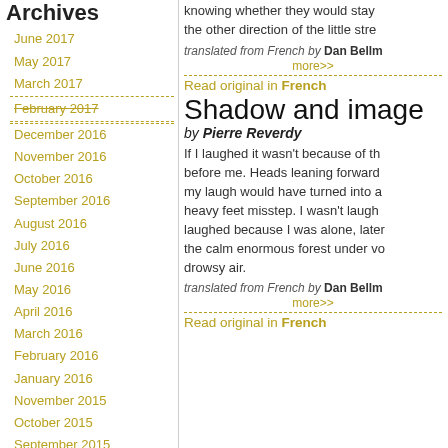Archives
June 2017
May 2017
March 2017
February 2017
December 2016
November 2016
October 2016
September 2016
August 2016
July 2016
June 2016
May 2016
April 2016
March 2016
February 2016
January 2016
November 2015
October 2015
September 2015
August 2015
July 2015
June 2015
May 2015
knowing whether they would stay
the other direction of the little stre
translated from French by Dan Bellm
more>>
Read original in French
Shadow and image
by Pierre Reverdy
If I laughed it wasn't because of th before me. Heads leaning forward my laugh would have turned into a heavy feet misstep. I wasn't laugh laughed because I was alone, later the calm enormous forest under vo drowsy air.
translated from French by Dan Bellm
more>>
Read original in French